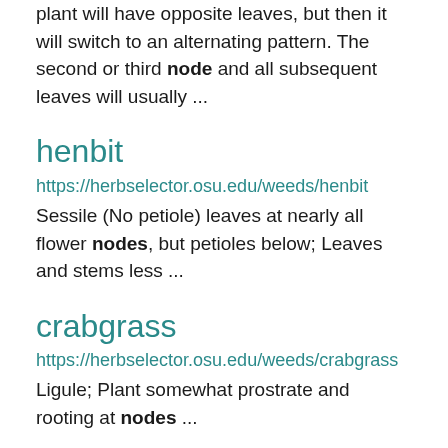plant will have opposite leaves, but then it will switch to an alternating pattern. The second or third node and all subsequent leaves will usually ...
henbit
https://herbselector.osu.edu/weeds/henbit
Sessile (No petiole) leaves at nearly all flower nodes, but petioles below; Leaves and stems less ...
crabgrass
https://herbselector.osu.edu/weeds/crabgrass
Ligule; Plant somewhat prostrate and rooting at nodes ...